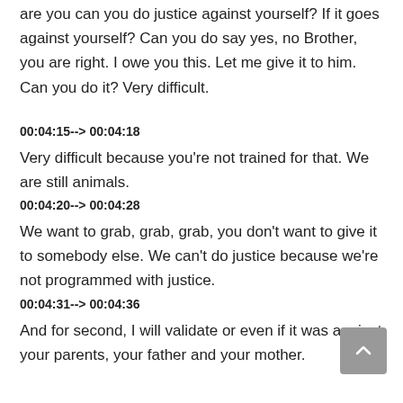are you can you do justice against yourself? If it goes against yourself? Can you do say yes, no Brother, you are right. I owe you this. Let me give it to him. Can you do it? Very difficult.
00:04:15--> 00:04:18
Very difficult because you're not trained for that. We are still animals.
00:04:20--> 00:04:28
We want to grab, grab, grab, you don't want to give it to somebody else. We can't do justice because we're not programmed with justice.
00:04:31--> 00:04:36
And for second, I will validate or even if it was against your parents, your father and your mother.